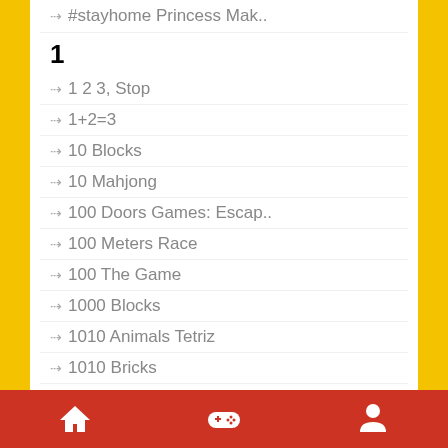→ #stayhome Princess Mak..
1
→ 1 2 3, Stop
→ 1+2=3
→ 10 Blocks
→ 10 Mahjong
→ 100 Doors Games: Escap..
→ 100 Meters Race
→ 100 The Game
→ 1000 Blocks
→ 1010 Animals Tetriz
→ 1010 Bricks
→ 1010 Christmas
→ 1010 Classic
→ 1010 Diamonds Rush
→ 1010 Easter Tetriz
→ 1010 Fish Blocks
Home | Games | Profile